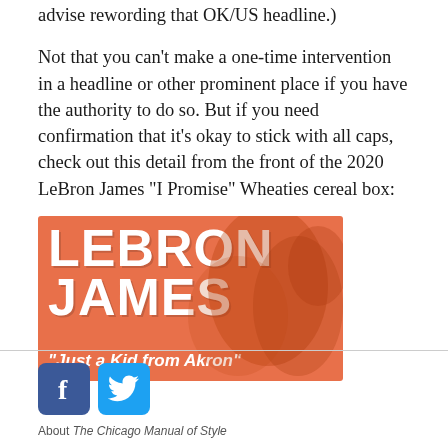advise rewording that OK/US headline.)
Not that you can’t make a one-time intervention in a headline or other prominent place if you have the authority to do so. But if you need confirmation that it’s okay to stick with all caps, check out this detail from the front of the 2020 LeBron James “I Promise” Wheaties cereal box:
[Figure (photo): Orange Wheaties cereal box front showing 'LEBRON JAMES' in large white all-caps bold text, with subtitle '"Just a Kid from Akron"' in white italic bold text below.]
About The Chicago Manual of Style